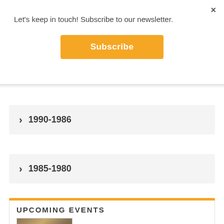Let's keep in touch! Subscribe to our newsletter.
[Figure (other): Close button (×) in top right corner]
[Figure (other): Orange Subscribe button]
> 1990-1986
> 1985-1980
UPCOMING EVENTS
[Figure (photo): Partial image visible at bottom of page below Upcoming Events header]